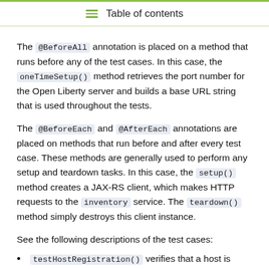Table of contents
The @BeforeAll annotation is placed on a method that runs before any of the test cases. In this case, the oneTimeSetup() method retrieves the port number for the Open Liberty server and builds a base URL string that is used throughout the tests.
The @BeforeEach and @AfterEach annotations are placed on methods that run before and after every test case. These methods are generally used to perform any setup and teardown tasks. In this case, the setup() method creates a JAX-RS client, which makes HTTP requests to the inventory service. The teardown() method simply destroys this client instance.
See the following descriptions of the test cases:
testHostRegistration() verifies that a host is correctly added to the inventory.